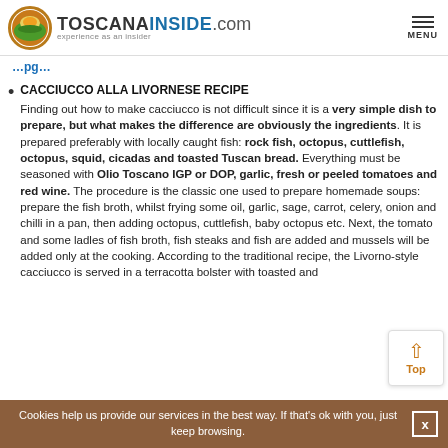TOSCANAINSIDE.com — experience as an insider
...pg...
CACCIUCCO ALLA LIVORNESE RECIPE Finding out how to make cacciucco is not difficult since it is a very simple dish to prepare, but what makes the difference are obviously the ingredients. It is prepared preferably with locally caught fish: rock fish, octopus, cuttlefish, octopus, squid, cicadas and toasted Tuscan bread. Everything must be seasoned with Olio Toscano IGP or DOP, garlic, fresh or peeled tomatoes and red wine. The procedure is the classic one used to prepare homemade soups: prepare the fish broth, whilst frying some oil, garlic, sage, carrot, celery, onion and chilli in a pan, then adding octopus, cuttlefish, baby octopus etc. Next, the tomato and some ladles of fish broth, fish steaks and fish are added and mussels will be added only at the cooking. According to the traditional recipe, the Livorno-style cacciucco is served in a terracotta bolster with toasted and
Cookies help us provide our services in the best way. If that's ok with you, just keep browsing.